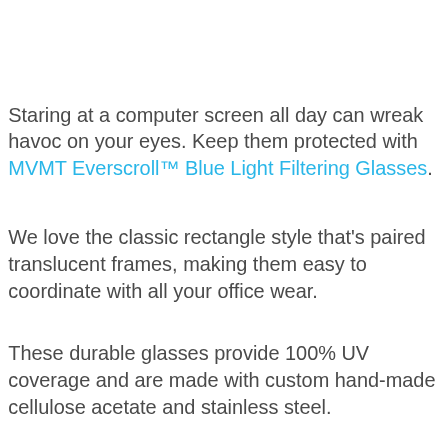Staring at a computer screen all day can wreak havoc on your eyes. Keep them protected with MVMT Everscroll™ Blue Light Filtering Glasses.
We love the classic rectangle style that's paired translucent frames, making them easy to coordinate with all your office wear.
These durable glasses provide 100% UV coverage and are made with custom hand-made cellulose acetate and stainless steel.